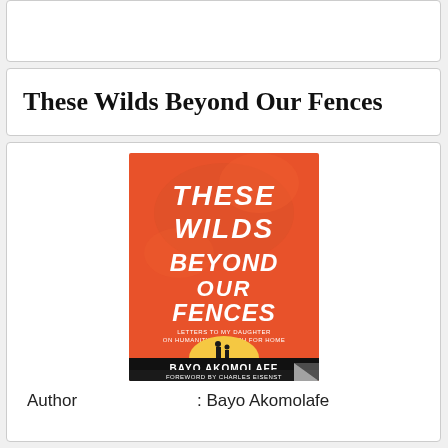These Wilds Beyond Our Fences
[Figure (illustration): Book cover of 'These Wilds Beyond Our Fences: Letters to My Daughter on Humanity's Search for Home' by Bayo Akomolafe, Foreword by Charles Eisenstein. Orange background with hand-lettered white title text, silhouette of adult and child under a yellow sun at the bottom, author name in black banner at bottom.]
Author                    : Bayo Akomolafe